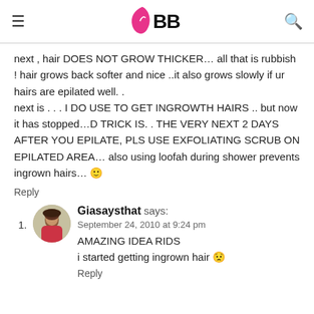IMBB
next , hair DOES NOT GROW THICKER… all that is rubbish ! hair grows back softer and nice ..it also grows slowly if ur hairs are epilated well. .
next is . . . I DO USE TO GET INGROWTH HAIRS .. but now it has stopped…D TRICK IS. . THE VERY NEXT 2 DAYS AFTER YOU EPILATE, PLS USE EXFOLIATING SCRUB ON EPILATED AREA… also using loofah during shower prevents ingrown hairs… 🙂
Reply
1. Giasaysthat says:
September 24, 2010 at 9:24 pm
AMAZING IDEA RIDS
i started getting ingrown hair 😟
Reply